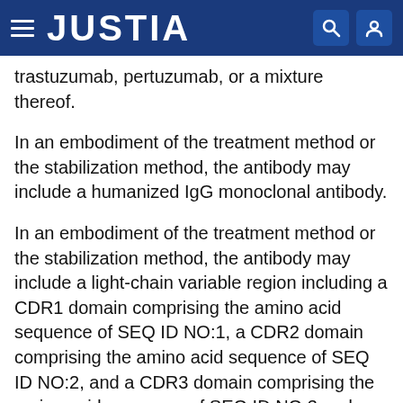JUSTIA
trastuzumab, pertuzumab, or a mixture thereof.
In an embodiment of the treatment method or the stabilization method, the antibody may include a humanized IgG monoclonal antibody.
In an embodiment of the treatment method or the stabilization method, the antibody may include a light-chain variable region including a CDR1 domain comprising the amino acid sequence of SEQ ID NO:1, a CDR2 domain comprising the amino acid sequence of SEQ ID NO:2, and a CDR3 domain comprising the amino acid sequence of SEQ ID NO:3 and a heavy-chain variable region including a CDR1 domain comprising the amino acid sequence of SEQ ID NO:4, a CDR2 domain comprising the amino acid sequence of SEQ ID NO:5, and a CDR3 domain comprising the amino acid sequence of SEQ ID NO:6.